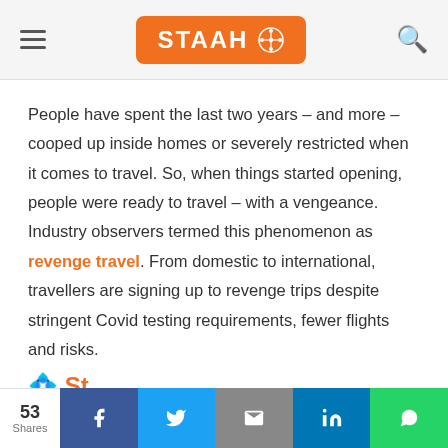STAAH
People have spent the last two years – and more – cooped up inside homes or severely restricted when it comes to travel. So, when things started opening, people were ready to travel – with a vengeance. Industry observers termed this phenomenon as revenge travel. From domestic to international, travellers are signing up to revenge trips despite stringent Covid testing requirements, fewer flights and risks.
53 Shares | Facebook | Twitter | Email | LinkedIn | WhatsApp